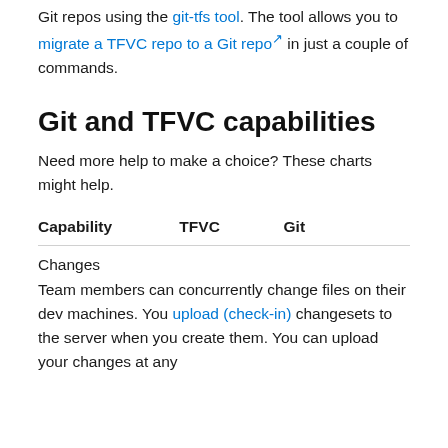Git repos using the git-tfs tool. The tool allows you to migrate a TFVC repo to a Git repo in just a couple of commands.
Git and TFVC capabilities
Need more help to make a choice? These charts might help.
| Capability | TFVC | Git |
| --- | --- | --- |
| Changes |  |  |
| Team members can concurrently change files on their dev machines. You upload (check-in) changesets to the server when you create them. You can upload your changes at any |  |  |
Team members can concurrently change files on their dev machines. You upload (check-in) changesets to the server when you create them. You can upload your changes at any